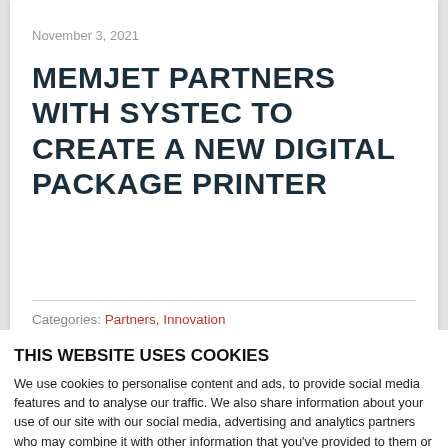November 3, 2021
MEMJET PARTNERS WITH SYSTEC TO CREATE A NEW DIGITAL PACKAGE PRINTER
Categories: Partners, Innovation
THIS WEBSITE USES COOKIES
We use cookies to personalise content and ads, to provide social media features and to analyse our traffic. We also share information about your use of our site with our social media, advertising and analytics partners who may combine it with other information that you've provided to them or that they've collected from your use of their services. You consent to our cookies if you continue to use our website.
Allow all cookies
Show details